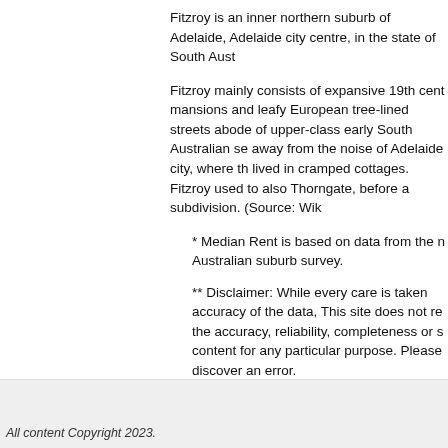Fitzroy is an inner northern suburb of Adelaide, Adelaide city centre, in the state of South Aust...
Fitzroy mainly consists of expansive 19th cent... mansions and leafy European tree-lined streets... abode of upper-class early South Australian se... away from the noise of Adelaide city, where th... lived in cramped cottages. Fitzroy used to also Thorngate, before a subdivision. (Source: Wik...
* Median Rent is based on data from the n... Australian suburb survey.
** Disclaimer: While every care is taken accuracy of the data, This site does not re... the accuracy, reliability, completeness or ... content for any particular purpose. Please... discover an error.
All content Copyright 2023.